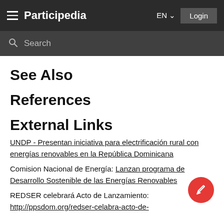Participedia   EN   Login
Search
See Also
References
External Links
UNDP - Presentan iniciativa para electrificación rural con energías renovables en la República Dominicana
Comision Nacional de Energía: Lanzan programa de Desarrollo Sostenible de las Energías Renovables
REDSER celebrará Acto de Lanzamiento: http://ppsdom.org/redser-celabra-acto-de-